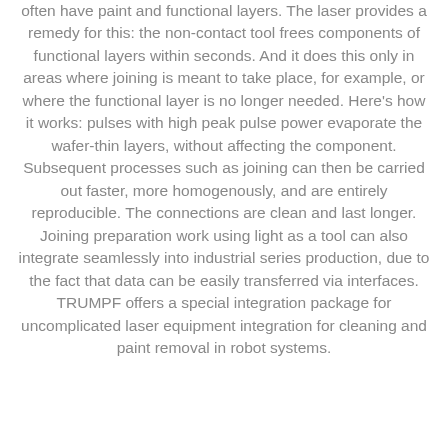connection. However, before joining, components often have paint and functional layers. The laser provides a remedy for this: the non-contact tool frees components of functional layers within seconds. And it does this only in areas where joining is meant to take place, for example, or where the functional layer is no longer needed. Here's how it works: pulses with high peak pulse power evaporate the wafer-thin layers, without affecting the component. Subsequent processes such as joining can then be carried out faster, more homogenously, and are entirely reproducible. The connections are clean and last longer. Joining preparation work using light as a tool can also integrate seamlessly into industrial series production, due to the fact that data can be easily transferred via interfaces. TRUMPF offers a special integration package for uncomplicated laser equipment integration for cleaning and paint removal in robot systems.